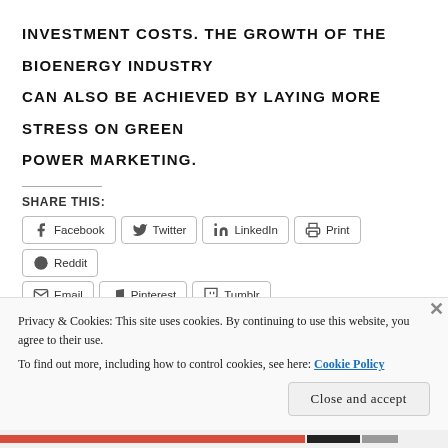INVESTMENT COSTS. THE GROWTH OF THE BIOENERGY INDUSTRY CAN ALSO BE ACHIEVED BY LAYING MORE STRESS ON GREEN POWER MARKETING.
SHARE THIS:
Facebook  Twitter  LinkedIn  Print  Reddit  Email  Pinterest  Tumblr
Like
Privacy & Cookies: This site uses cookies. By continuing to use this website, you agree to their use.
To find out more, including how to control cookies, see here: Cookie Policy
Close and accept